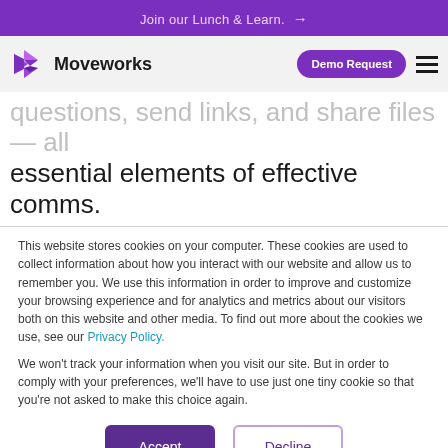Join our Lunch & Learn. →
[Figure (logo): Moveworks logo with purple arrow icon and wordmark, plus Demo Request button and hamburger menu]
questions, send links, and share files — all essential elements of effective comms.
This website stores cookies on your computer. These cookies are used to collect information about how you interact with our website and allow us to remember you. We use this information in order to improve and customize your browsing experience and for analytics and metrics about our visitors both on this website and other media. To find out more about the cookies we use, see our Privacy Policy.
We won't track your information when you visit our site. But in order to comply with your preferences, we'll have to use just one tiny cookie so that you're not asked to make this choice again.